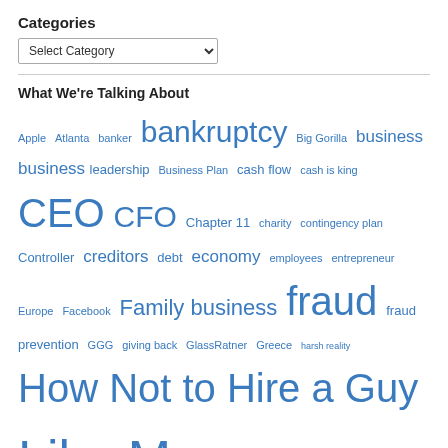Categories
Select Category (dropdown)
What We're Talking About
Apple Atlanta banker bankruptcy Big Gorilla business business leadership Business Plan cash flow cash is king CEO CFO Chapter 11 charity contingency plan Controller creditors debt economy employees entrepreneur Europe Facebook Family business fraud fraud prevention GGG giving back GlassRatner Greece harsh reality How Not to Hire a Guy Like Me leadership Lee Katz management Money Netflix No No proactive stealing Steve Jobs stress theft The